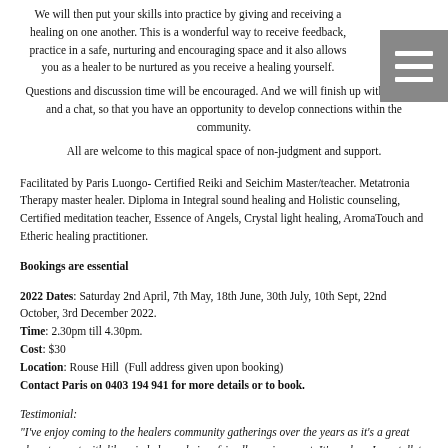We will then put your skills into practice by giving and receiving a healing on one another. This is a wonderful way to receive feedback, practice in a safe, nurturing and encouraging space and it also allows you as a healer to be nurtured as you receive a healing yourself.
Questions and discussion time will be encouraged. And we will finish up with a cuppa and a chat, so that you have an opportunity to develop connections within the community.
All are welcome to this magical space of non-judgment and support.
Facilitated by Paris Luongo- Certified Reiki and Seichim Master/teacher. Metatronia Therapy master healer. Diploma in Integral sound healing and Holistic counseling, Certified meditation teacher, Essence of Angels, Crystal light healing, AromaTouch and Etheric healing practitioner.
Bookings are essential
2022 Dates: Saturday 2nd April, 7th May, 18th June, 30th July, 10th Sept, 22nd October, 3rd December 2022.
Time: 2.30pm till 4.30pm.
Cost: $30
Location: Rouse Hill  (Full address given upon booking)
Contact Paris on 0403 194 941 for more details or to book.
Testimonial:
"I've enjoy coming to the healers community gatherings over the years as it's a great place to meet with like minded people in a friendly environment. It's a place I can talk to people and practice with people that are passionate about healing. There's